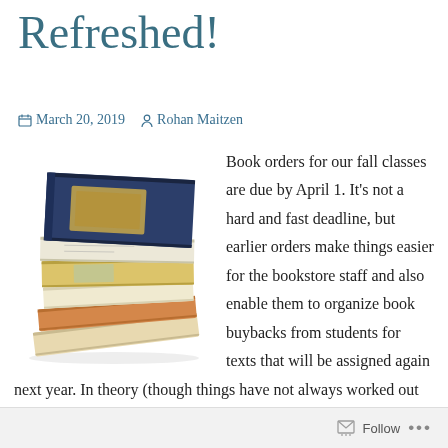Refreshed!
March 20, 2019   Rohan Maitzen
[Figure (photo): A stack of several books piled horizontally on top of each other, with various colored covers, on a white background.]
Book orders for our fall classes are due by April 1. It’s not a hard and fast deadline, but earlier orders make things easier for the bookstore staff and also enable them to organize book buybacks from students for texts that will be assigned again next year. In theory (though things have not always worked out this way) it also means that if there is some kind of supply problem
Follow